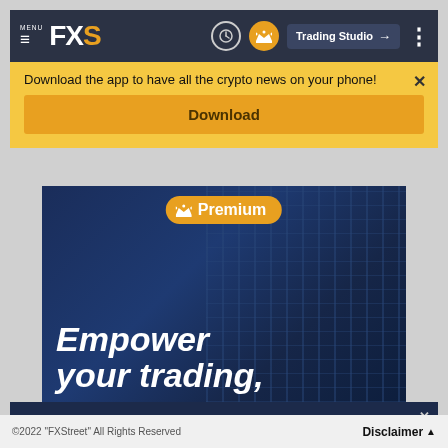[Figure (screenshot): FXStreet navigation bar with MENU hamburger icon, FXS logo, clock icon, crown icon, Trading Studio button, and three-dot menu]
Download the app to have all the crypto news on your phone!
Download
[Figure (illustration): FXStreet Premium advertisement with dark blue background, orange Premium badge with crown, and large white text 'Empower your trading,']
[Figure (illustration): Bottom banner ad: 'Unleash your trading powers Unleash FXStreet Premium' with raised fists graphic on dark blue background]
©2022 "FXStreet" All Rights Reserved   Disclaimer ▲